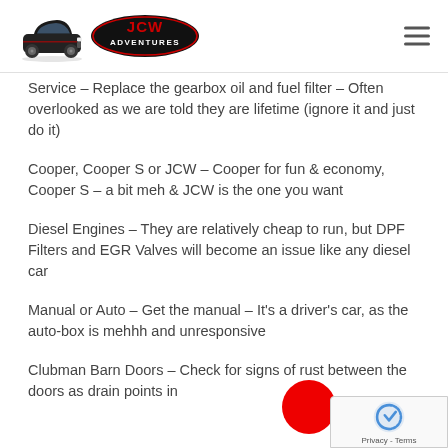[Figure (logo): JCW Adventures logo with MINI car silhouette and JCW Adventures oval badge]
Service – Replace the gearbox oil and fuel filter – Often overlooked as we are told they are lifetime (ignore it and just do it)
Cooper, Cooper S or JCW – Cooper for fun & economy, Cooper S – a bit meh & JCW is the one you want
Diesel Engines – They are relatively cheap to run, but DPF Filters and EGR Valves will become an issue like any diesel car
Manual or Auto – Get the manual – It's a driver's car, as the auto-box is mehhh and unresponsive
Clubman Barn Doors – Check for signs of rust between the doors as drain points in the...